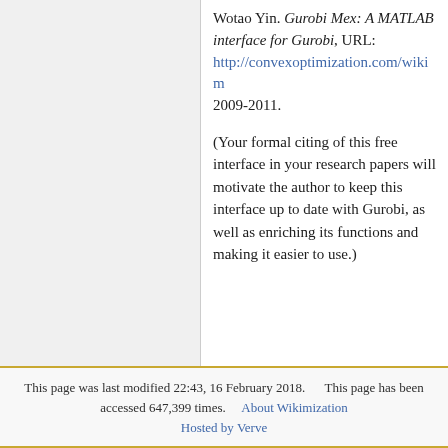Wotao Yin. Gurobi Mex: A MATLAB interface for Gurobi, URL: http://convexoptimization.com/wikin... 2009-2011.
(Your formal citing of this free interface in your research papers will motivate the author to keep this interface up to date with Gurobi, as well as enriching its functions and making it easier to use.)
This page was last modified 22:43, 16 February 2018. This page has been accessed 647,399 times. About Wikimization Hosted by Verve